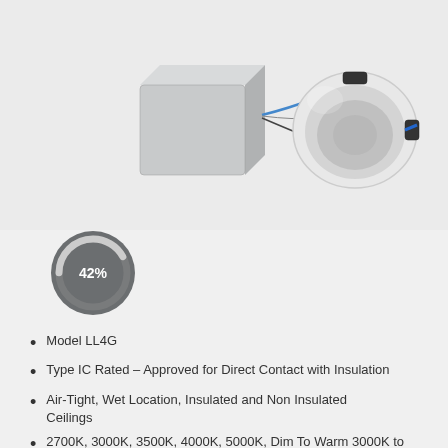[Figure (photo): LED recessed light fixture with separate driver box. The driver is a square silver metallic junction box on the left, connected by wires to a white circular gimbal/eyeball trim ring on the right, shown against a light gray background.]
[Figure (donut-chart): Circular donut-style gauge showing 42% in white text on a dark gray circle background, with a partial arc indicator.]
Model LL4G
Type IC Rated – Approved for Direct Contact with Insulation
Air-Tight, Wet Location, Insulated and Non Insulated Ceilings
2700K, 3000K, 3500K, 4000K, 5000K, Dim To Warm 3000K to 2000K, and 5CCT
Regular 11.4W and High Output 15W